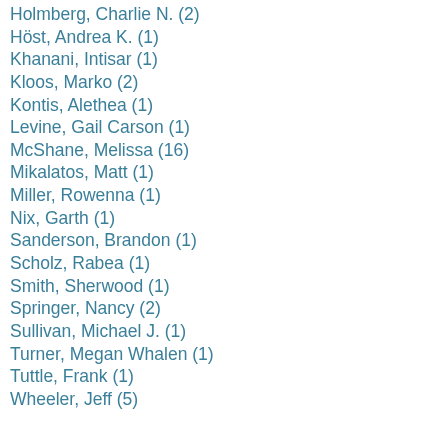Holmberg, Charlie N. (2)
Höst, Andrea K. (1)
Khanani, Intisar (1)
Kloos, Marko (2)
Kontis, Alethea (1)
Levine, Gail Carson (1)
McShane, Melissa (16)
Mikalatos, Matt (1)
Miller, Rowenna (1)
Nix, Garth (1)
Sanderson, Brandon (1)
Scholz, Rabea (1)
Smith, Sherwood (1)
Springer, Nancy (2)
Sullivan, Michael J. (1)
Turner, Megan Whalen (1)
Tuttle, Frank (1)
Wheeler, Jeff (5)